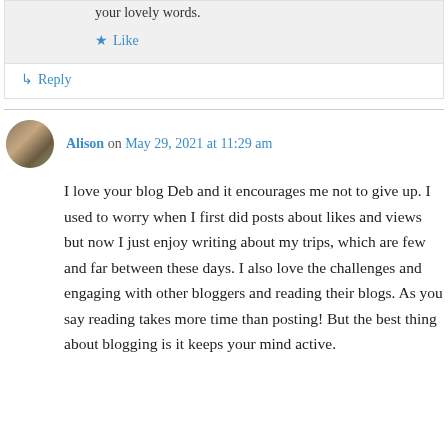your lovely words.
★ Like
↳ Reply
Alison on May 29, 2021 at 11:29 am
I love your blog Deb and it encourages me not to give up. I used to worry when I first did posts about likes and views but now I just enjoy writing about my trips, which are few and far between these days. I also love the challenges and engaging with other bloggers and reading their blogs. As you say reading takes more time than posting! But the best thing about blogging is it keeps your mind active.